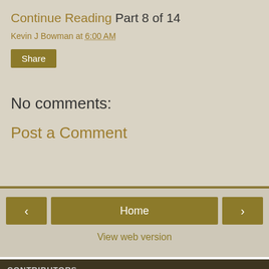Continue Reading Part 8 of 14
Kevin J Bowman at 6:00 AM
Share
No comments:
Post a Comment
< Home >
View web version
CONTRIBUTORS
Kevin J Bowman
Kevin J Bowman
Powered by Blogger.